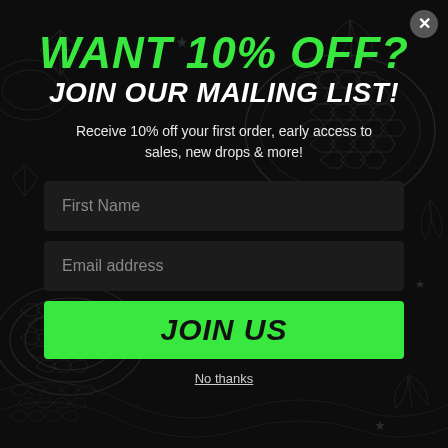[Figure (illustration): Dark black background with white wireframe snake/serpent coiled shapes and crystal/gem decorative elements scattered throughout]
WANT 10% OFF?
JOIN OUR MAILING LIST!
Receive 10% off your first order, early access to sales, new drops & more!
First Name
Email address
JOIN US
No thanks